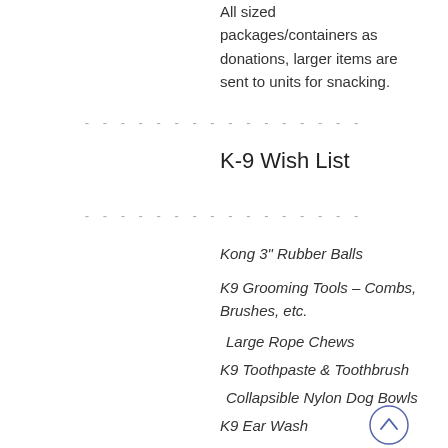All sized packages/containers as donations, larger items are sent to units for snacking.
- - - - - - - - - - - - - - - -
K-9 Wish List
- - - - - - - - - - - - - - - -
Kong 3" Rubber Balls
K9 Grooming Tools – Combs, Brushes, etc.
Large Rope Chews
K9 Toothpaste & Toothbrush
Collapsible Nylon Dog Bowls
K9 Ear Wash
True Chews Beef Jerky Sticks
K9 Advantix, Flea & Tick Treatment
True Chews Chicken Jerky